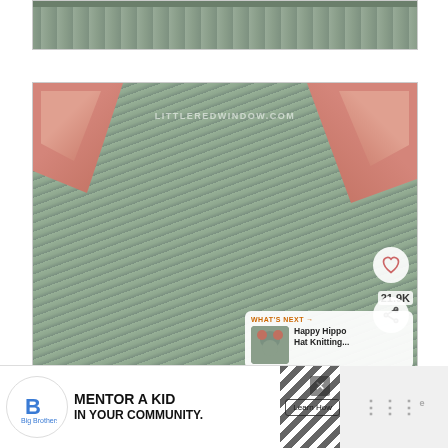[Figure (photo): Close-up top portion of a knitted hat with ribbed edge in grey yarn, partially visible with knitting needles]
[Figure (photo): Close-up of a knitted animal ear hat (cat or mouse) in grey yarn with pink/salmon-colored ear linings, showing two ears at top. Watermark reads LITTLEREDWINDOW.COM. Has heart/save button with 21.9K count and share button. 'What's Next' panel shows Happy Hippo Hat Knitting...]
[Figure (photo): Advertisement banner: Big Brothers Big Sisters logo, text 'MENTOR A KID IN YOUR COMMUNITY.' with Learn How button. Diagonal stripe pattern and close button visible.]